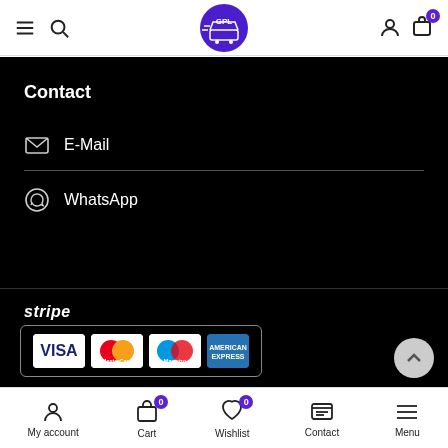GPL Market navigation header with hamburger, search, logo, user and cart icons
Contact
E-Mail
WhatsApp
[Figure (logo): Stripe payment logos: Visa, MasterCard, Maestro, American Express]
2022 © GPL Market, All rights all reserved.
Bottom navigation: My account, Cart (0), Wishlist (0), Contact, Menu